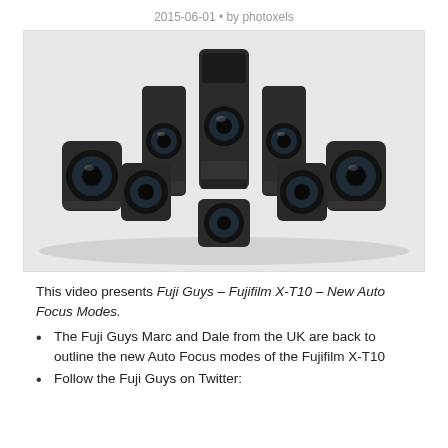2015-06-01 • by photoxels
[Figure (photo): Collection of multiple Fujifilm camera lenses of various sizes arranged together on a white background]
This video presents Fuji Guys – Fujifilm X-T10 – New Auto Focus Modes.
The Fuji Guys Marc and Dale from the UK are back to outline the new Auto Focus modes of the Fujifilm X-T10
Follow the Fuji Guys on Twitter: